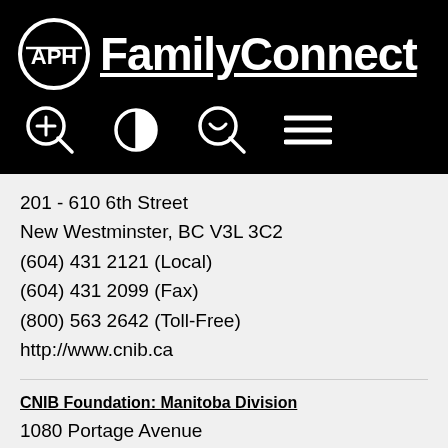[Figure (logo): APH FamilyConnect logo with circular APH icon and underlined FamilyConnect text in white on black background, with accessibility icons row below]
201 - 610 6th Street
New Westminster, BC V3L 3C2
(604) 431 2121 (Local)
(604) 431 2099 (Fax)
(800) 563 2642 (Toll-Free)
http://www.cnib.ca
CNIB Foundation: Manitoba Division
1080 Portage Avenue
Winnipeg, MB R3G 3M3
(204) 774 5421 (Local)
(204) 775 5090 (Fax)
(800) 563 2642 (Toll-Free)